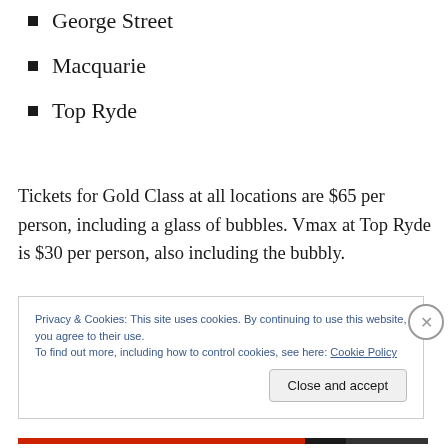George Street
Macquarie
Top Ryde
Tickets for Gold Class at all locations are $65 per person, including a glass of bubbles. Vmax at Top Ryde is $30 per person, also including the bubbly.
Privacy & Cookies: This site uses cookies. By continuing to use this website, you agree to their use.
To find out more, including how to control cookies, see here: Cookie Policy
Close and accept